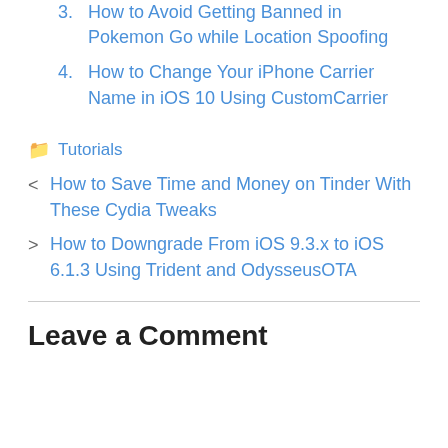3. How to Avoid Getting Banned in Pokemon Go while Location Spoofing
4. How to Change Your iPhone Carrier Name in iOS 10 Using CustomCarrier
📁 Tutorials
< How to Save Time and Money on Tinder With These Cydia Tweaks
> How to Downgrade From iOS 9.3.x to iOS 6.1.3 Using Trident and OdysseusOTA
Leave a Comment